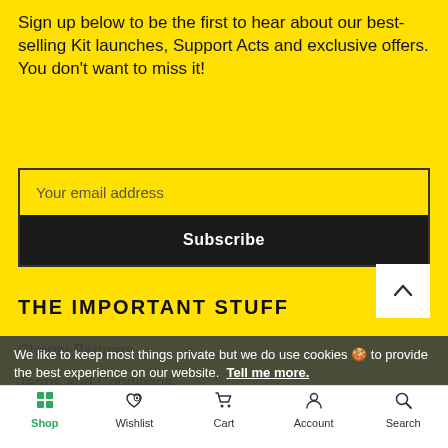Sign up below to be the first to hear about our best-selling Kit launches, Support Acts and exclusive offers. You don't want to miss it!
Your email address
Subscribe
THE IMPORTANT STUFF
Charity Partners
Terms and Conditions
Privacy Policy
Shipping Policy
We like to keep most things private but we do use cookies 🍪 to provide the best experience on our website. Tell me more.
Shop  Wishlist  Cart  Account  Search